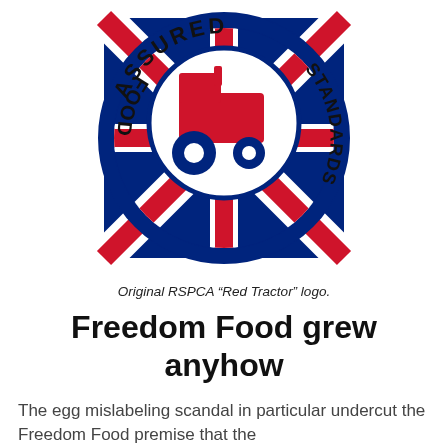[Figure (logo): Assured Food Standards 'Red Tractor' logo — circular badge with dark blue border, text 'ASSURED' at top and 'FOOD STANDARDS' on right side curved, containing a red tractor silhouette with blue wheels on a Union Jack (UK flag) background.]
Original RSPCA “Red Tractor” logo.
Freedom Food grew anyhow
The egg mislabeling scandal in particular undercut the Freedom Food premise that the